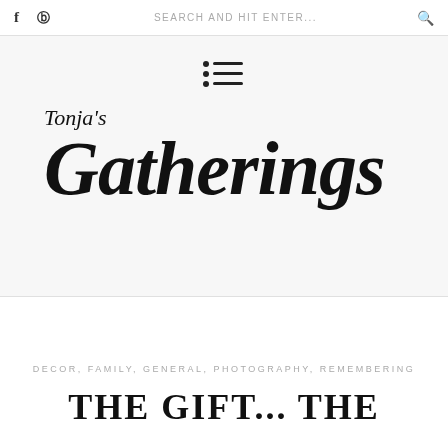f  ⊕  SEARCH AND HIT ENTER...  🔍
[Figure (screenshot): Menu icon with three rows each showing a bullet dot followed by a horizontal line]
Tonja's Gatherings
DECOR, FAMILY, GENERAL, PHOTOGRAPHY, REMEMBERING
THE GIFT... THE